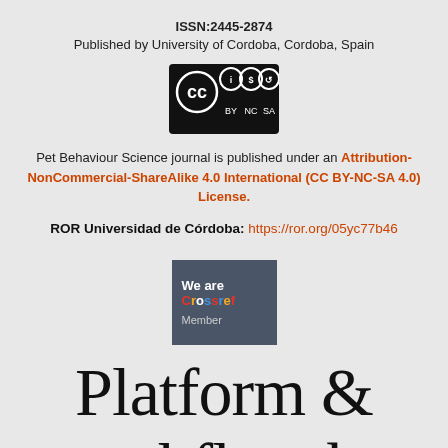ISSN:2445-2874
Published by University of Cordoba, Cordoba, Spain
[Figure (logo): Creative Commons BY-NC-SA license logo with CC symbol and three icons]
Pet Behaviour Science journal is published under an Attribution-NonCommercial-ShareAlike 4.0 International (CC BY-NC-SA 4.0) License.
ROR Universidad de Córdoba: https://ror.org/05yc77b46
[Figure (logo): We are Crossref Member badge with dark background]
Platform & workflow by
OJS/PKP (partially visible)